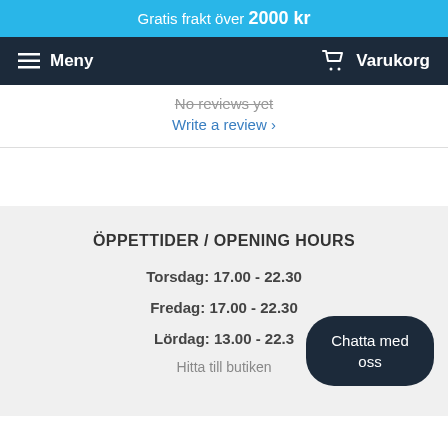Gratis frakt över 2000 kr
Meny   Varukorg
No reviews yet
Write a review ›
ÖPPETTIDER / OPENING HOURS
Torsdag: 17.00 - 22.30
Fredag: 17.00 - 22.30
Lördag: 13.00 - 22.3
Hitta till butiken